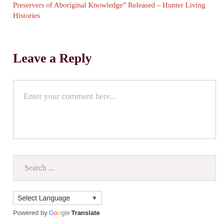Preservers of Aboriginal Knowledge” Released – Hunter Living Histories
Leave a Reply
Enter your comment here...
Search ...
Select Language
Powered by Google Translate